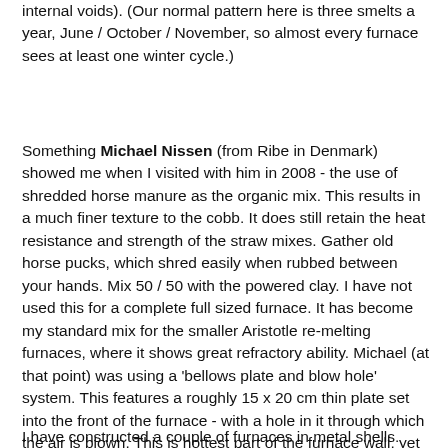internal voids). (Our normal pattern here is three smelts a year, June / October / November, so almost every furnace sees at least one winter cycle.)
Something Michael Nissen (from Ribe in Denmark) showed me when I visited with him in 2008 - the use of shredded horse manure as the organic mix. This results in a much finer texture to the cobb. It does still retain the heat resistance and strength of the straw mixes. Gather old horse pucks, which shred easily when rubbed between your hands. Mix 50 / 50 with the powered clay. I have not used this for a complete full sized furnace. It has become my standard mix for the smaller Aristotle re-melting furnaces, where it shows great refractory ability. Michael (at that point) was using a 'bellows plate and blow hole' system. This features a roughly 15 x 20 cm thin plate set into the front of the furnace - with a hole in it through which the air is blown. This is hottest part of the furnace wall, yet even 1 cm thick plates of horse cobb have demonstrated great durability.
I have constructed a couple of furnaces in metal shells.